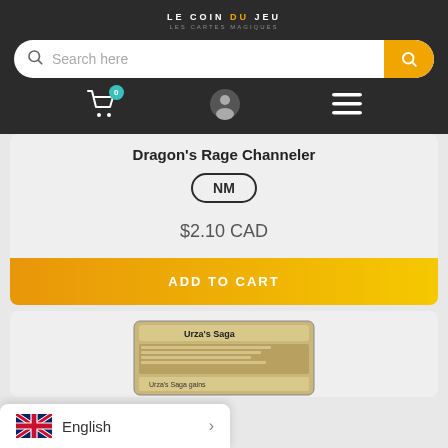LE COIN DU JEU
[Figure (screenshot): Search bar with magnifying glass icon on left and orange search button on right]
[Figure (screenshot): Navigation icons: shopping cart with badge '0', user profile icon, hamburger menu]
Dragon's Rage Channeler
NM
$2.10 CAD
ADD TO CART
[Figure (screenshot): Urza's Saga card image partial view]
English